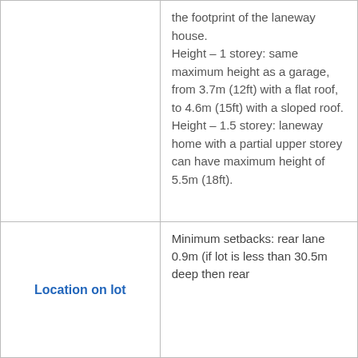|  | the footprint of the laneway house.
Height – 1 storey: same maximum height as a garage, from 3.7m (12ft) with a flat roof, to 4.6m (15ft) with a sloped roof.
Height – 1.5 storey: laneway home with a partial upper storey can have maximum height of 5.5m (18ft). |
| Location on lot | Minimum setbacks: rear lane 0.9m (if lot is less than 30.5m deep then rear... |